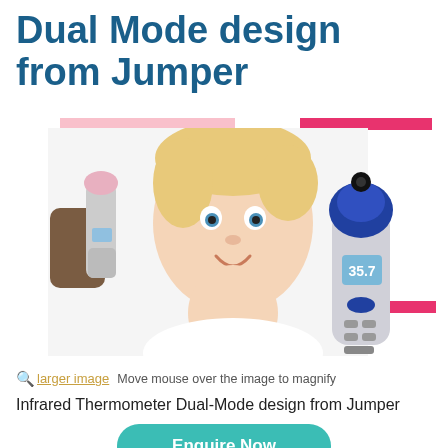Dual Mode design from Jumper
[Figure (photo): Baby smiling while a hand holds an infrared thermometer to its forehead, and a standalone Jumper infrared thermometer device shown separately, with pink decorative bar accents.]
🔍 larger image  Move mouse over the image to magnify
Infrared Thermometer Dual-Mode design from Jumper
Enquire Now